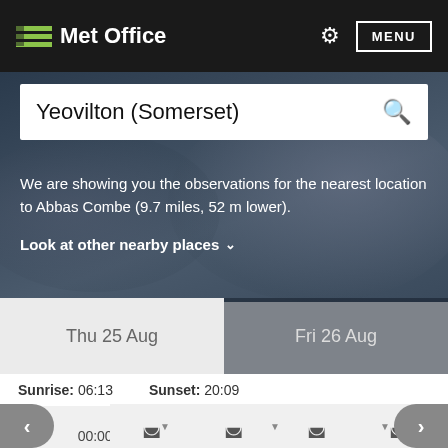Met Office
Yeovilton (Somerset)
We are showing you the observations for the nearest location to Abbas Combe (9.7 miles, 52 m lower).
Look at other nearby places
Thu 25 Aug
Fri 26 Aug
Sunrise: 06:13   Sunset: 20:09
Friday at
| 00:00 | 01:00 | 02:00 | 03:00 |
| --- | --- | --- | --- |